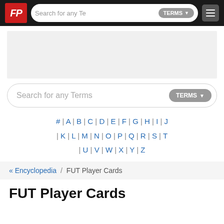FP | Search for any Te | TERMS
[Figure (screenshot): Gray advertisement banner placeholder area]
Search for any Terms  TERMS ▼
# | A | B | C | D | E | F | G | H | I | J | K | L | M | N | O | P | Q | R | S | T | U | V | W | X | Y | Z
« Encyclopedia  /  FUT Player Cards
FUT Player Cards